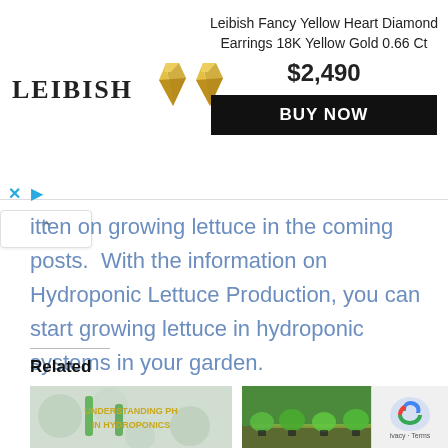[Figure (screenshot): Leibish jewelry ad banner with logo, diamond earring images, product title 'Leibish Fancy Yellow Heart Diamond Earrings 18K Yellow Gold 0.66 Ct', price $2,490, and BUY NOW button]
itten on growing lettuce in the coming posts. With the information on Hydroponic Lettuce Production, you can start growing lettuce in hydroponic systems in your garden.
Related
[Figure (photo): Thumbnail image showing lab equipment with text 'UNDERSTANDING PH IN HYDROPONICS']
[Figure (photo): Thumbnail image showing lettuce plants growing in hydroponic system outdoors]